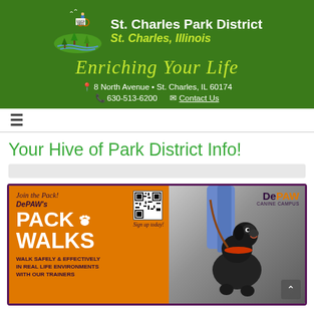St. Charles Park District — St. Charles, Illinois — Enriching Your Life — 8 North Avenue • St. Charles, IL 60174 — 630-513-6200 — Contact Us
Your Hive of Park District Info!
[Figure (illustration): DePAW Canine Campus advertisement showing 'Join the Pack! DePAW's PACK WALKS — Walk Safely & Effectively in Real Life Environments with Our Trainers' on an orange background with a QR code, and a photo of a black dog on leash on the right side. DePAW Canine Campus logo in upper right.]